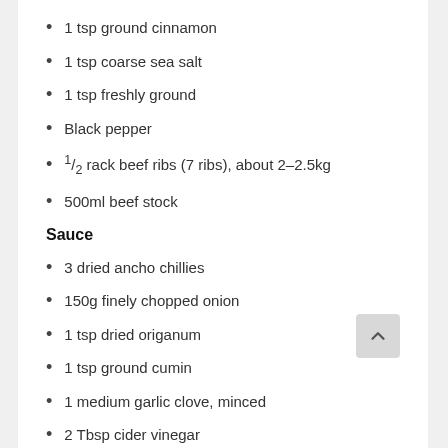1 tsp ground cinnamon
1 tsp coarse sea salt
1 tsp freshly ground
Black pepper
½ rack beef ribs (7 ribs), about 2–2.5kg
500ml beef stock
Sauce
3 dried ancho chillies
150g finely chopped onion
1 tsp dried origanum
1 tsp ground cumin
1 medium garlic clove, minced
2 Tbsp cider vinegar
1 Tbsp light brown sugar
¾ tsp coarse sea salt
125ml tomato sauce